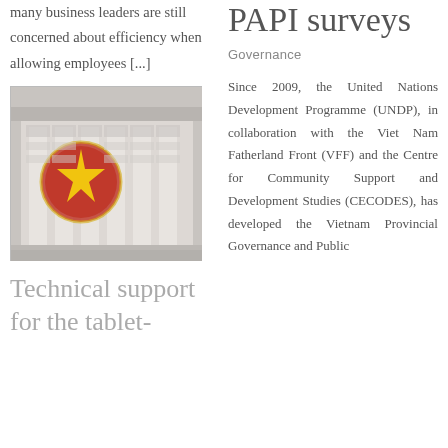many business leaders are still concerned about efficiency when allowing employees [...]
[Figure (photo): Government building with circular emblem/seal featuring a red star, white facade with decorative geometric patterns]
Technical support for the tablet-
PAPI surveys
Governance
Since 2009, the United Nations Development Programme (UNDP), in collaboration with the Viet Nam Fatherland Front (VFF) and the Centre for Community Support and Development Studies (CECODES), has developed the Vietnam Provincial Governance and Public